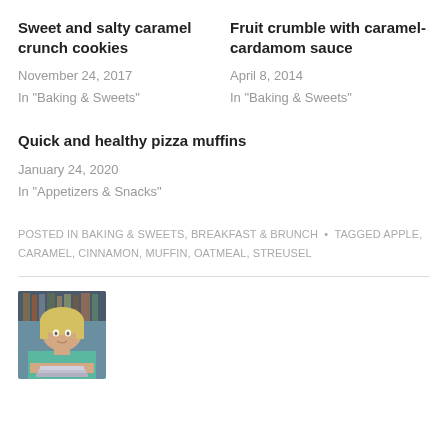Sweet and salty caramel crunch cookies
November 24, 2017
In "Baking & Sweets"
Fruit crumble with caramel-cardamom sauce
April 8, 2014
In "Baking & Sweets"
Quick and healthy pizza muffins
January 24, 2020
In "Appetizers & Snacks"
POSTED IN BAKING & SWEETS, BREAKFAST & BRUNCH • TAGGED APPLE, CARAMEL, CINNAMON, MUFFIN, OATMEAL, STREUSEL
[Figure (photo): Author photo of a blonde woman in a teal top leaning on a stack of books]